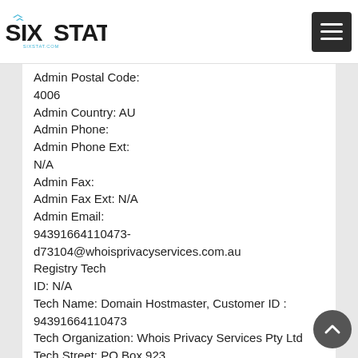SIXSTAT sixstat.com
Admin Postal Code:
4006
Admin Country: AU
Admin Phone:
Admin Phone Ext:
N/A
Admin Fax:
Admin Fax Ext: N/A
Admin Email:
94391664110473-d73104@whoisprivacyservices.com.au
Registry Tech
ID: N/A
Tech Name: Domain Hostmaster, Customer ID : 94391664110473
Tech Organization: Whois Privacy Services Pty Ltd
Tech Street: PO Box 923
Tech City: Fortitude Valley
Tech State/Province: QLD
Tech Postal Code:
4006